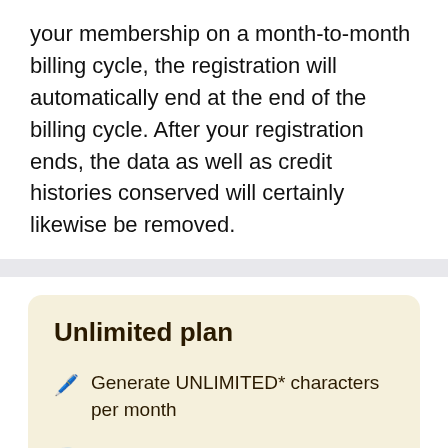your membership on a month-to-month billing cycle, the registration will automatically end at the end of the billing cycle. After your registration ends, the data as well as credit histories conserved will certainly likewise be removed.
Unlimited plan
Generate UNLIMITED* characters per month
Access 30+ use-cases